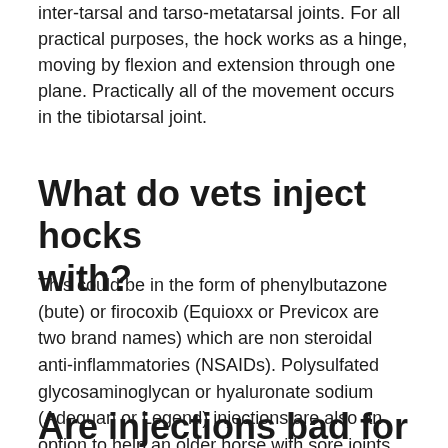inter-tarsal and tarso-metatarsal joints. For all practical purposes, the hock works as a hinge, moving by flexion and extension through one plane. Practically all of the movement occurs in the tibiotarsal joint.
What do vets inject hocks with?
This could be in the form of phenylbutazone (bute) or firocoxib (Equioxx or Previcox are two brand names) which are non steroidal anti-inflammatories (NSAIDs). Polysulfated glycosaminoglycan or hyaluronate sodium (Adequan or Legend) injections are also an option to help an older horse with sore joints.
Are injections bad for